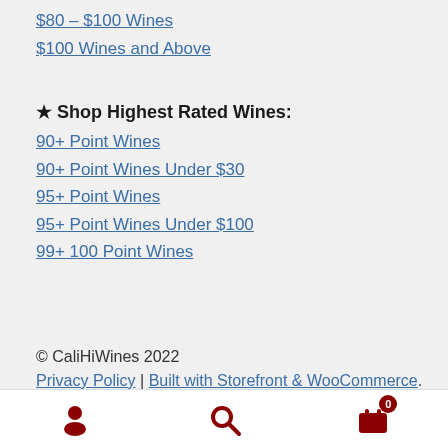$80 – $100 Wines
$100 Wines and Above
★ Shop Highest Rated Wines:
90+ Point Wines
90+ Point Wines Under $30
95+ Point Wines
95+ Point Wines Under $100
99+ 100 Point Wines
© CaliHiWines 2022
Privacy Policy | Built with Storefront & WooCommerce.